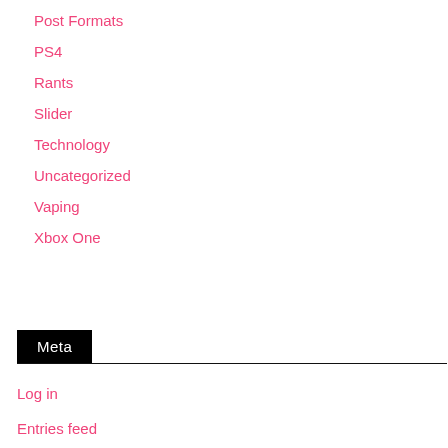Post Formats
PS4
Rants
Slider
Technology
Uncategorized
Vaping
Xbox One
Meta
Log in
Entries feed